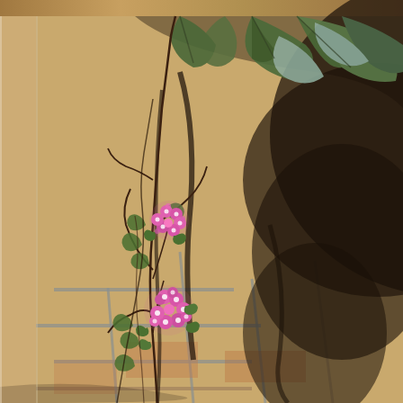[Figure (photo): A photograph of pink verbena flowers blooming on a thin woody stem with small green leaves, growing against a stone or stucco wall with ivy leaves visible at the top. The wall has a warm sandy beige color with darker mortar lines visible. Strong sunlight creates dramatic shadows on the wall surface. Two clusters of small bright pink flowers are prominently featured in the lower-left area of the image.]